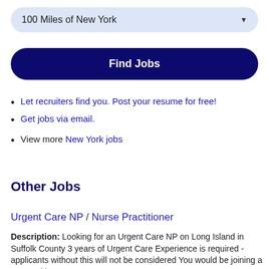100 Miles of New York
Find Jobs
Let recruiters find you. Post your resume for free!
Get jobs via email.
View more New York jobs
Other Jobs
Urgent Care NP / Nurse Practitioner
Description: Looking for an Urgent Care NP on Long Island in Suffolk County 3 years of Urgent Care Experience is required - applicants without this will not be considered You would be joining a group with